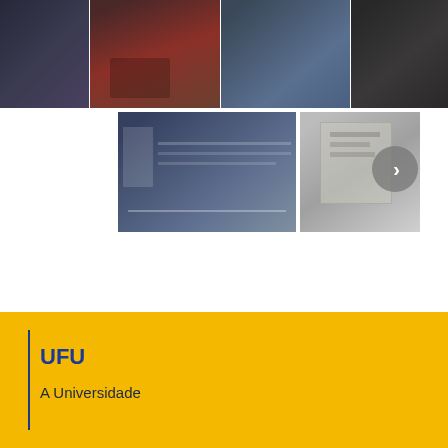[Figure (photo): Top photo strip showing a conference/seminar with people seated at tables, water bottles visible, shot from behind]
[Figure (photo): Two thumbnail photos: left shows a lecture hall with audience and presenter, right shows a person holding a document or poster with a navigation arrow overlay]
Imagens do evento
▲ Voltar para o topo
UFU
A Universidade